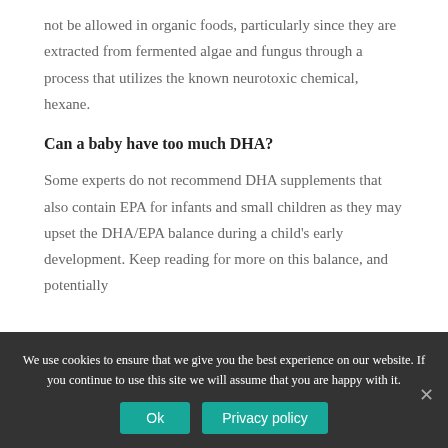not be allowed in organic foods, particularly since they are extracted from fermented algae and fungus through a process that utilizes the known neurotoxic chemical, hexane.
Can a baby have too much DHA?
Some experts do not recommend DHA supplements that also contain EPA for infants and small children as they may upset the DHA/EPA balance during a child's early development. Keep reading for more on this balance, and potentially
We use cookies to ensure that we give you the best experience on our website. If you continue to use this site we will assume that you are happy with it.